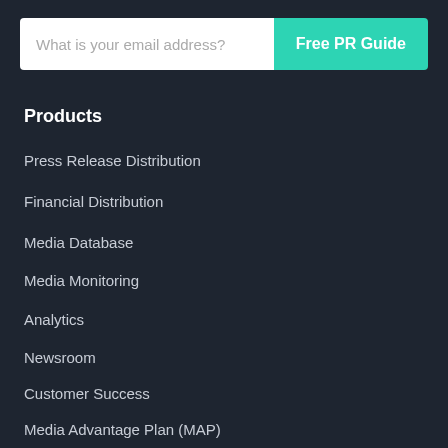[Figure (screenshot): Email input field with placeholder 'What is your email address?' and a teal 'Free PR Guide' button]
Products
Press Release Distribution
Financial Distribution
Media Database
Media Monitoring
Analytics
Newsroom
Customer Success
Media Advantage Plan (MAP)
Company
About Us